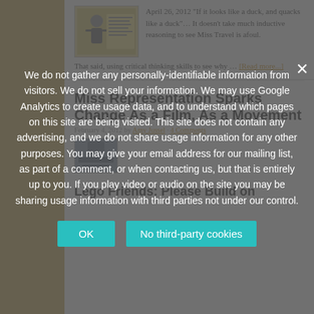April 26, 2012 "If it looks like a duck, and quacks like a duck"… It doesn't take much inductive reasoning to see Miss Travel is afoul. That said, using critical thinking skills to see why … [Read more...]
Miss Representation Sparks Change As a Film, As a Movement
February 4, 2012 by Amy Jussel · 4 Comments
We do not gather any personally-identifiable information from visitors. We do not sell your information. We may use Google Analytics to create usage data, and to understand which pages on this site are being visited. This site does not contain any advertising, and we do not share usage information for any other purposes. You may give your email address for our mailing list, as part of a comment, or when contacting us, but that is entirely up to you. If you play video or audio on the site you may be sharing usage information with third parties not under our control.
Lego Friends: Please Build on